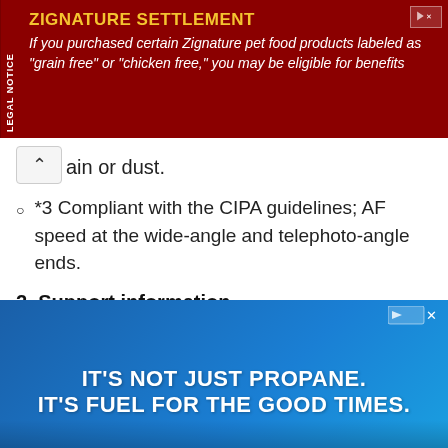[Figure (infographic): Legal notice advertisement banner for Zignature Settlement on dark red background with gold title text and white italic body text reading: 'ZIGNATURE SETTLEMENT - If you purchased certain Zignature pet food products labeled as "grain free" or "chicken free," you may be eligible for benefits']
ain or dust.
*3 Compliant with the CIPA guidelines; AF speed at the wide-angle and telephoto-angle ends.
2. Support information
The GF35-70mmF4.5-5.6 WR features a manual retractable barrel structure. Before shooting, manually rotate the zoom ring to extend the barrel to the wide-angle 35mm position.
[Figure (infographic): Blue advertisement banner reading: 'IT'S NOT JUST PROPANE. IT'S FUEL FOR THE GOOD TIMES.' in large white bold text on a blue gradient background.]